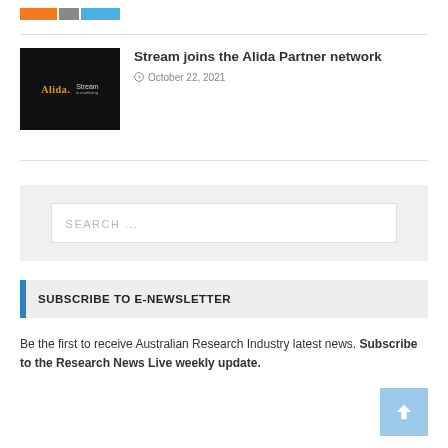[Figure (logo): Website logo bar with orange, grey, and blue segments]
Stream joins the Alida Partner network
October 22, 2021
SEARCH ...
SUBSCRIBE TO E-NEWSLETTER
Be the first to receive Australian Research Industry latest news. Subscribe to the Research News Live weekly update.